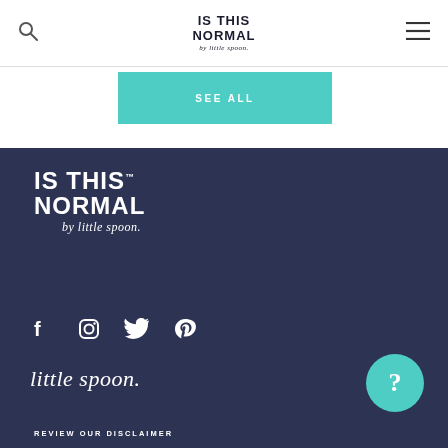IS THIS NORMAL by little spoon.
SEE ALL
[Figure (logo): IS THIS NORMAL by little spoon. logo in white on dark navy background, large footer logo]
[Figure (infographic): Social media icons: Facebook, Instagram, Twitter, Pinterest in white on dark navy background]
[Figure (logo): little spoon. wordmark in white italic script]
[Figure (other): Teal circular help/question mark button]
REVIEW OUR DISCLAIMER